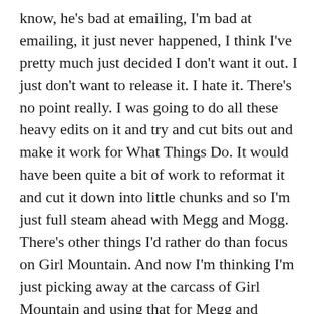know, he's bad at emailing, I'm bad at emailing, it just never happened, I think I've pretty much just decided I don't want it out. I just don't want to release it. I hate it. There's no point really. I was going to do all these heavy edits on it and try and cut bits out and make it work for What Things Do. It would have been quite a bit of work to reformat it and cut it down into little chunks and so I'm just full steam ahead with Megg and Mogg. There's other things I'd rather do than focus on Girl Mountain. And now I'm thinking I'm just picking away at the carcass of Girl Mountain and using that for Megg and Mogg. You know, little bits I can use for Vice. Because I'm desperate for ideas! I've got all these places I've got to do Megg and Mogg and I don't want it to get really shit. So I'm desperate for ideas, and just salvaging things from wherever I can. It's not all gold. I did something for the Pitchfork Review, the second issue, and I kind of